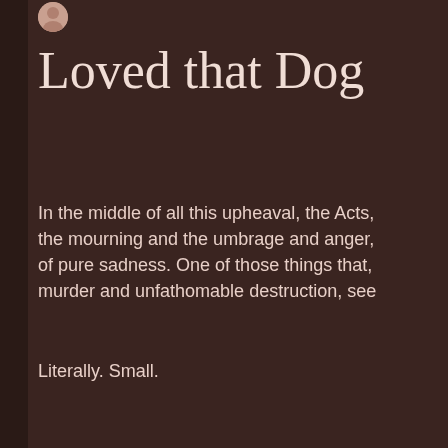[Figure (photo): Small circular avatar photo of a person, partially visible in top-left area]
Loved that Dog
In the middle of all this upheaval, the Acts, the mourning and the umbrage and anger, of pure sadness. One of those things that, murder and unfathomable destruction, see
Literally. Small.